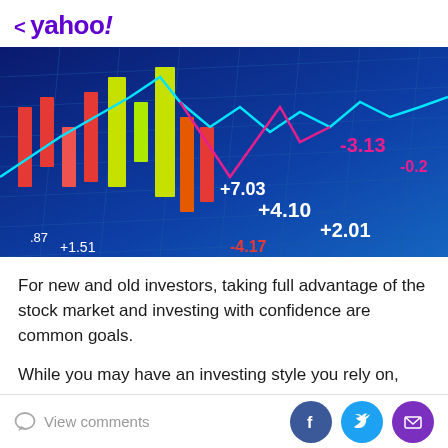< yahoo!
[Figure (photo): Stock market trading screen showing candlestick charts with colored bars (red and yellow/green) and line charts (cyan and pink), with numeric values +7.03, +4.10, +2.01, -3.13, -0.2, -4.17, +1.51, .87 displayed on a blue grid background]
For new and old investors, taking full advantage of the stock market and investing with confidence are common goals.
While you may have an investing style you rely on,
View comments